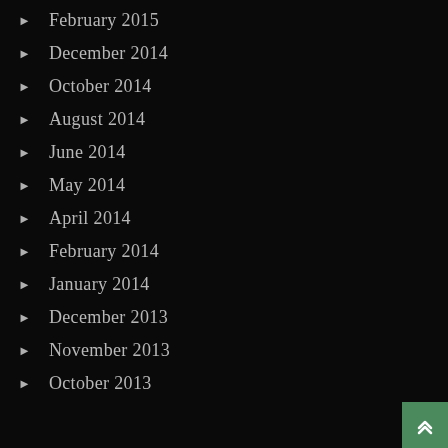February 2015
December 2014
October 2014
August 2014
June 2014
May 2014
April 2014
February 2014
January 2014
December 2013
November 2013
October 2013